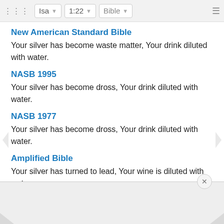Isa | 1:22 | Bible
New American Standard Bible
Your silver has become waste matter, Your drink diluted with water.
NASB 1995
Your silver has become dross, Your drink diluted with water.
NASB 1977
Your silver has become dross, Your drink diluted with water.
Amplified Bible
Your silver has turned to lead, Your wine is diluted with water.
Christian Standard Bible
Your s[ilver has become dross]... your beer [is diluted with water]